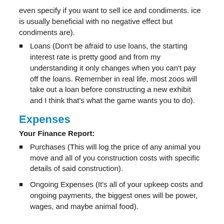even specify if you want to sell ice and condiments. ice is usually beneficial with no negative effect but condiments are).
Loans (Don't be afraid to use loans, the starting interest rate is pretty good and from my understanding it only changes when you can't pay off the loans. Remember in real life, most zoos will take out a loan before constructing a new exhibit and I think that's what the game wants you to do).
Expenses
Your Finance Report:
Purchases (This will log the price of any animal you move and all of you construction costs with specific details of said construction).
Ongoing Expenses (It's all of your upkeep costs and ongoing payments, the biggest ones will be power, wages, and maybe animal food).